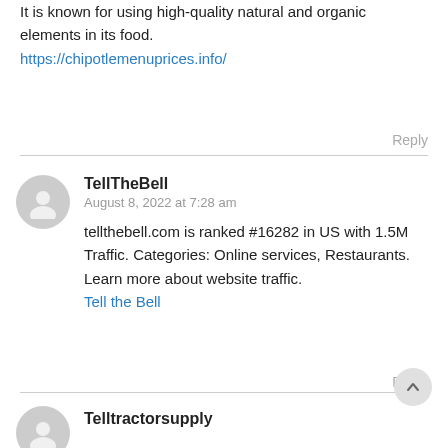It is known for using high-quality natural and organic elements in its food.
https://chipotlemenuprices.info/
Reply
[Figure (illustration): Gray circular avatar placeholder icon for user TellTheBell]
TellTheBell
August 8, 2022 at 7:28 am
tellthebell.com is ranked #16282 in US with 1.5M Traffic. Categories: Online services, Restaurants. Learn more about website traffic.
Tell the Bell
Reply
[Figure (illustration): Gray circular avatar placeholder icon for user Telltractorsupply]
Telltractorsupply